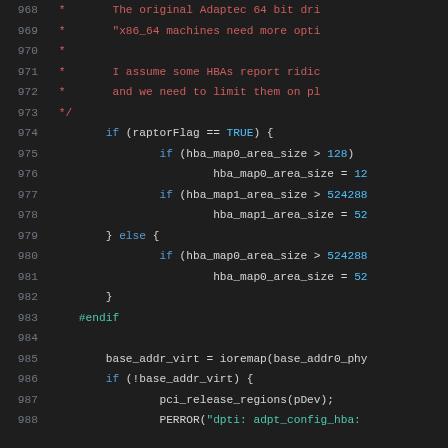Source code viewer showing lines 968-988 of a C driver file with syntax highlighting. Code includes comments about Adaptec 64-bit driver and x86_64 machines, conditional logic checking raptorFlag, hba_map area sizes, and ioremap/pci_release calls.